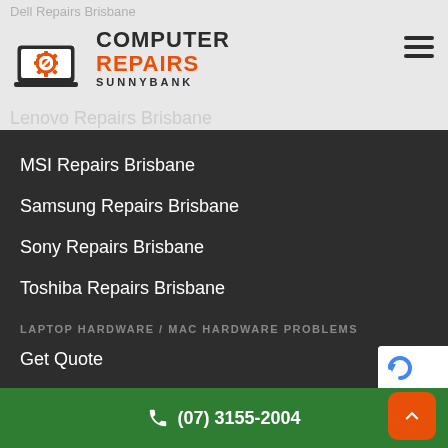Computer Repairs Sunnybank
Dell Repairs Brisbane
Lenovo Repairs Brisbane
MSI Repairs Brisbane
Samsung Repairs Brisbane
Sony Repairs Brisbane
Toshiba Repairs Brisbane
LAPTOP HARDWARE / MAC HARDWARE PROBLEMS
Get Quote
OUR PARTNERS
Click here to view our partners
(07) 3155-2004